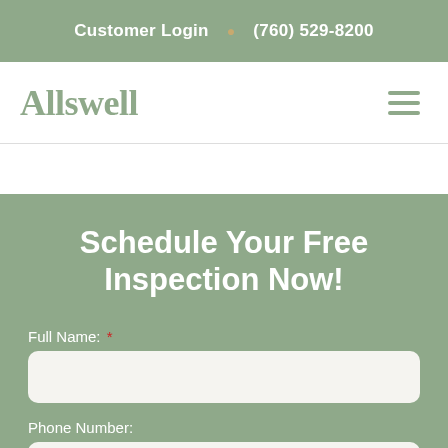Customer Login  •  (760) 529-8200
Allswell
Schedule Your Free Inspection Now!
Full Name: *
Phone Number: